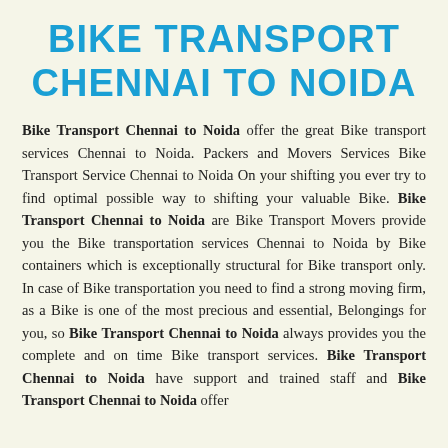BIKE TRANSPORT CHENNAI TO NOIDA
Bike Transport Chennai to Noida offer the great Bike transport services Chennai to Noida. Packers and Movers Services Bike Transport Service Chennai to Noida On your shifting you ever try to find optimal possible way to shifting your valuable Bike. Bike Transport Chennai to Noida are Bike Transport Movers provide you the Bike transportation services Chennai to Noida by Bike containers which is exceptionally structural for Bike transport only. In case of Bike transportation you need to find a strong moving firm, as a Bike is one of the most precious and essential, Belongings for you, so Bike Transport Chennai to Noida always provides you the complete and on time Bike transport services. Bike Transport Chennai to Noida have support and trained staff and Bike Transport Chennai to Noida offer